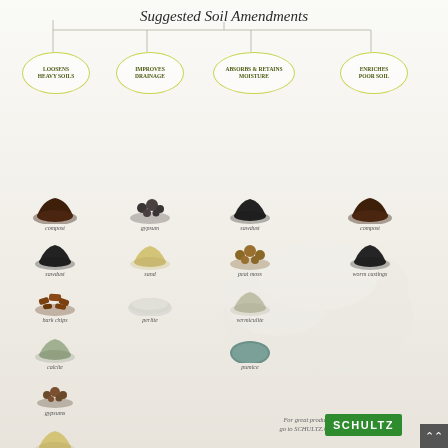Suggested Soil Amendments
[Figure (infographic): Infographic showing suggested soil amendments organized into four categories: Loosens Heavy Soils, Improves Drainage, Absorbs & Retains Moisture, Enriches Poor Soil. Each category shows soil amendment materials with images and labels including compost, gypsum, sawdust, sand, peat moss, perlite, bark chips, vermiculite, calcite, pumice, gypsums, worm castings, biochar, and more. Schultz brand logo at bottom right.]